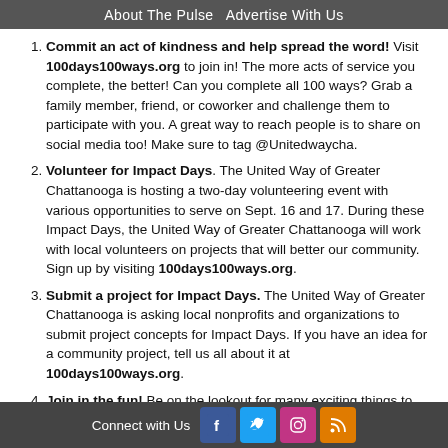About The Pulse  Advertise With Us
Commit an act of kindness and help spread the word! Visit 100days100ways.org to join in! The more acts of service you complete, the better! Can you complete all 100 ways? Grab a family member, friend, or coworker and challenge them to participate with you. A great way to reach people is to share on social media too! Make sure to tag @Unitedwaycha.
Volunteer for Impact Days. The United Way of Greater Chattanooga is hosting a two-day volunteering event with various opportunities to serve on Sept. 16 and 17. During these Impact Days, the United Way of Greater Chattanooga will work with local volunteers on projects that will better our community. Sign up by visiting 100days100ways.org.
Submit a project for Impact Days. The United Way of Greater Chattanooga is asking local nonprofits and organizations to submit project concepts for Impact Days. If you have an idea for a community project, tell us all about it at 100days100ways.org.
Join in the fun! Be on the lookout for many exciting things to come over the next 100 days, like large scale decorative candles painted by students at local schools, Chattanooga's largest
Connect with Us